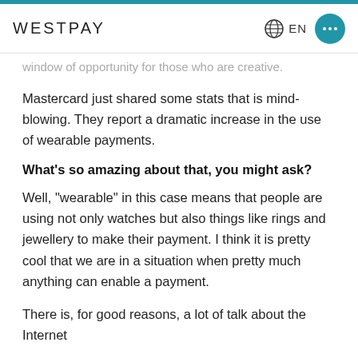WESTPAY  EN
window of opportunity for those who are creative.
Mastercard just shared some stats that is mind-blowing. They report a dramatic increase in the use of wearable payments.
What's so amazing about that, you might ask?
Well, "wearable" in this case means that people are using not only watches but also things like rings and jewellery to make their payment. I think it is pretty cool that we are in a situation when pretty much anything can enable a payment.
There is, for good reasons, a lot of talk about the Internet